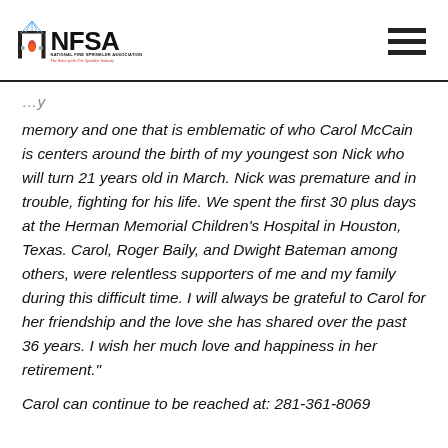NFSA - National Fire Sprinkler Association - The Voice of the Fire Sprinkler Industry
memory and one that is emblematic of who Carol McCain is centers around the birth of my youngest son Nick who will turn 21 years old in March. Nick was premature and in trouble, fighting for his life. We spent the first 30 plus days at the Herman Memorial Children's Hospital in Houston, Texas. Carol, Roger Baily, and Dwight Bateman among others, were relentless supporters of me and my family during this difficult time. I will always be grateful to Carol for her friendship and the love she has shared over the past 36 years. I wish her much love and happiness in her retirement."
Carol can continue to be reached at: 281-361-8069